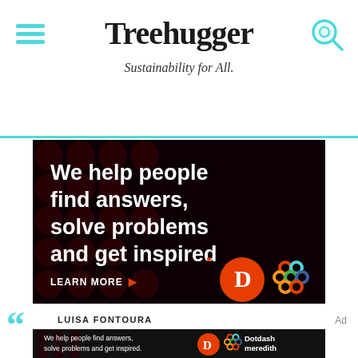Treehugger — Sustainability for All.
[Figure (infographic): Dark advertisement banner with red polka-dot background. Text reads: 'We help people find answers, solve problems and get inspired.' with 'LEARN MORE' button. Dotdash Meredith logos visible.]
LUISA FONTOURA
Ad
[Figure (infographic): Smaller dark advertisement banner at bottom: 'We help people find answers, solve problems and get inspired.' with Dotdash Meredith branding.]